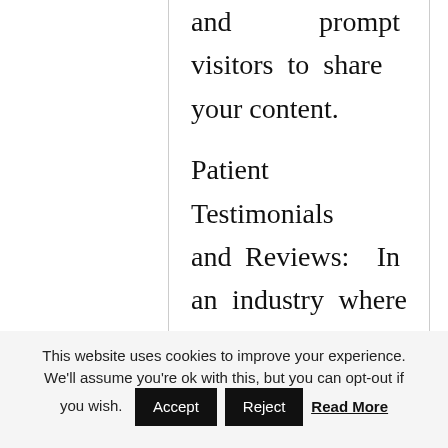and prompt visitors to share your content.

Patient Testimonials and Reviews: In an industry where the word-of-mouth is still the best advertising ploy, patient testimonials and reviews are the most effective alternative promotional measures.
This website uses cookies to improve your experience. We'll assume you're ok with this, but you can opt-out if you wish.